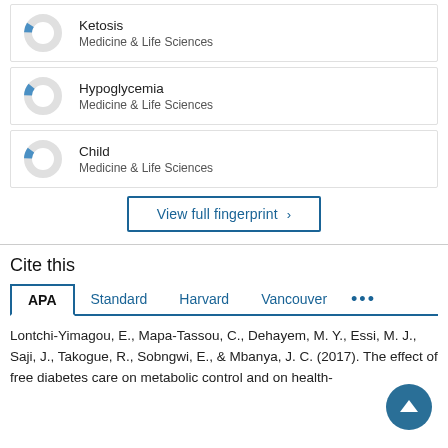[Figure (donut-chart): Small donut chart with a blue segment, Medicine & Life Sciences]
Ketosis
Medicine & Life Sciences
[Figure (donut-chart): Small donut chart with a blue segment, Medicine & Life Sciences]
Hypoglycemia
Medicine & Life Sciences
[Figure (donut-chart): Small donut chart with a blue segment, Medicine & Life Sciences]
Child
Medicine & Life Sciences
View full fingerprint ›
Cite this
APA  Standard  Harvard  Vancouver  ...
Lontchi-Yimagou, E., Mapa-Tassou, C., Dehayem, M. Y., Essi, M. J., Saji, J., Takogue, R., Sobngwi, E., & Mbanya, J. C. (2017). The effect of free diabetes care on metabolic control and on health-